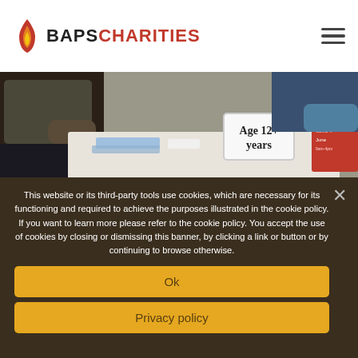BAPS CHARITIES
[Figure (photo): Photo of a person seated at a folding table at what appears to be a vaccination or health event. A sign on the table reads 'Age 12+ years'. A red sign is visible at the right edge. Blue paper is on the table.]
This website or its third-party tools use cookies, which are necessary for its functioning and required to achieve the purposes illustrated in the cookie policy. If you want to learn more please refer to the cookie policy. You accept the use of cookies by closing or dismissing this banner, by clicking a link or button or by continuing to browse otherwise.
Ok
Privacy policy